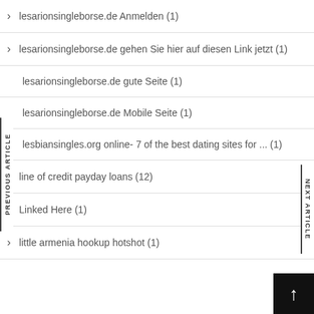lesarionsingleborse.de Anmelden (1)
lesarionsingleborse.de gehen Sie hier auf diesen Link jetzt (1)
lesarionsingleborse.de gute Seite (1)
lesarionsingleborse.de Mobile Seite (1)
lesbiansingles.org online- 7 of the best dating sites for ... (1)
line of credit payday loans (12)
Linked Here (1)
little armenia hookup hotshot (1)